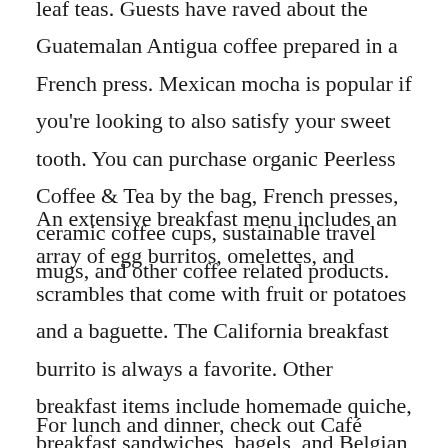leaf teas. Guests have raved about the Guatemalan Antigua coffee prepared in a French press. Mexican mocha is popular if you're looking to also satisfy your sweet tooth. You can purchase organic Peerless Coffee & Tea by the bag, French presses, ceramic coffee cups, sustainable travel mugs, and other coffee related products.
An extensive breakfast menu includes an array of egg burritos, omelettes, and scrambles that come with fruit or potatoes and a baguette. The California breakfast burrito is always a favorite. Other breakfast items include homemade quiche, breakfast sandwiches, bagels, and Belgian waffles. If you prefer something lighter, the bistro offers a fruit parfait, cold cereal, or seasonal fresh fruit plates. A variety of flavorful muffins and pastries are also available.
For lunch and dinner, check out Café 1134's bistro menu.